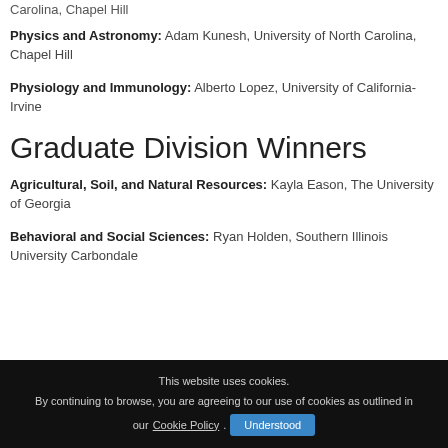Carolina, Chapel Hill
Physics and Astronomy: Adam Kunesh, University of North Carolina, Chapel Hill
Physiology and Immunology: Alberto Lopez, University of California-Irvine
Graduate Division Winners
Agricultural, Soil, and Natural Resources: Kayla Eason, The University of Georgia
Behavioral and Social Sciences: Ryan Holden, Southern Illinois University Carbondale
This website uses cookies. By continuing to browse, you are agreeing to our use of cookies as outlined in our Cookie Policy. Understood